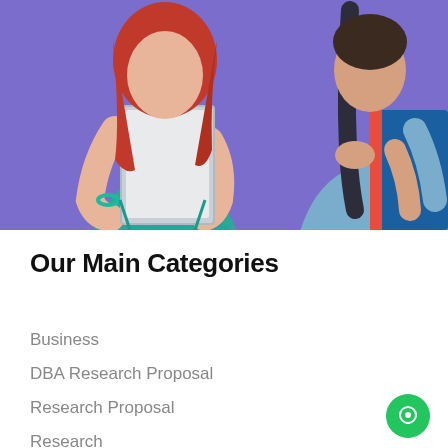[Figure (photo): Two students standing side by side against a purple/violet background. Left student is a female with red/auburn hair holding a gray folder/binder tightly to her chest, wearing a teal top. Right student is a male wearing a light blue long-sleeve top, carrying a dark backpack strap and holding a blue folder with a red spine.]
Our Main Categories
Business
DBA Research Proposal
Research Proposal
Research